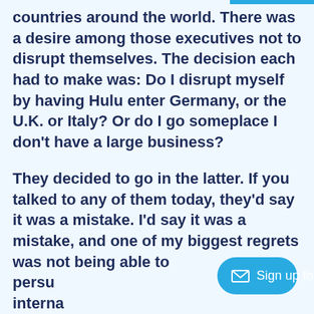in most countries around the world. There was a desire among those executives not to disrupt themselves. The decision each had to make was: Do I disrupt myself by having Hulu enter Germany, or the U.K. or Italy? Or do I go someplace I don't have a large business?
They decided to go in the latter. If you talked to any of them today, they'd say it was a mistake. I'd say it was a mistake, and one of my biggest regrets was not being able to persuade them to go international...
Sign up for the email newsletter